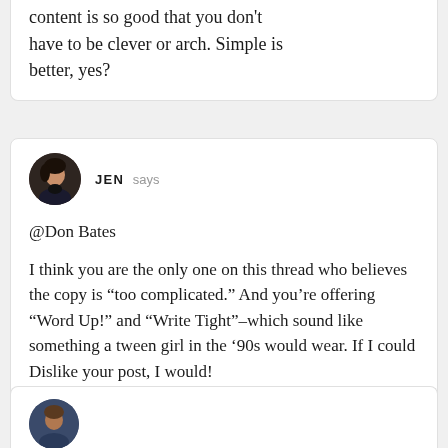content is so good that you don't have to be clever or arch. Simple is better, yes?
JEN says
@Don Bates
I think you are the only one on this thread who believes the copy is “too complicated.” And you’re offering “Word Up!” and “Write Tight”–which sound like something a tween girl in the ’90s would wear. If I could Dislike your post, I would!